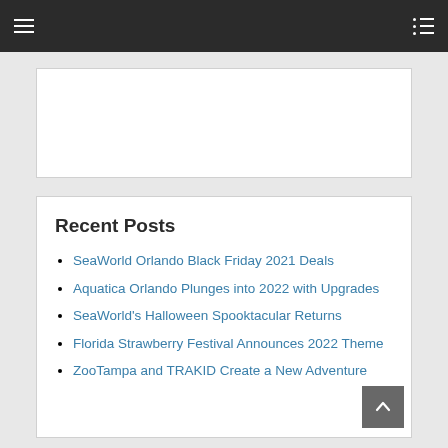Navigation bar with hamburger menu and list icon
[Figure (other): Empty white content box placeholder]
Recent Posts
SeaWorld Orlando Black Friday 2021 Deals
Aquatica Orlando Plunges into 2022 with Upgrades
SeaWorld's Halloween Spooktacular Returns
Florida Strawberry Festival Announces 2022 Theme
ZooTampa and TRAKID Create a New Adventure